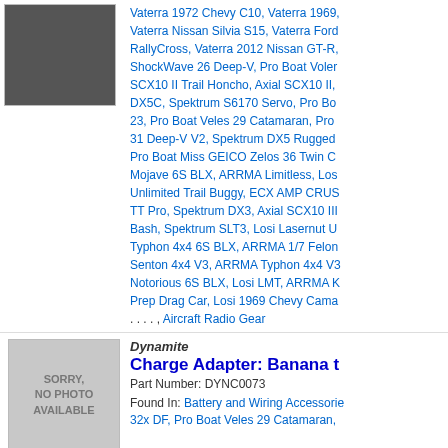[Figure (photo): RC servo motor product image (black servo), partially visible at top]
Vaterra 1972 Chevy C10, Vaterra 1969, Vaterra Nissan Silvia S15, Vaterra Ford RallyCross, Vaterra 2012 Nissan GT-R, ShockWave 26 Deep-V, Pro Boat Voles, SCX10 II Trail Honcho, Axial SCX10 II, DX5C, Spektrum S6170 Servo, Pro Bo, 23, Pro Boat Veles 29 Catamaran, Pro, 31 Deep-V V2, Spektrum DX5 Rugged, Pro Boat Miss GEICO Zelos 36 Twin C, Mojave 6S BLX, ARRMA Limitless, Los, Unlimited Trail Buggy, ECX AMP CRUS, TT Pro, Spektrum DX3, Axial SCX10 III, Bash, Spektrum SLT3, Losi Lasernut U, Typhon 4x4 6S BLX, ARRMA 1/7 Felon, Senton 4x4 V3, ARRMA Typhon 4x4 V3, Notorious 6S BLX, Losi LMT, ARRMA K, Prep Drag Car, Losi 1969 Chevy Cama, . . . . , Aircraft Radio Gear
[Figure (photo): Sorry, No Photo Available placeholder image]
Dynamite
Charge Adapter: Banana t
Part Number: DYNC0073
Found In: Battery and Wiring Accessories, 32x DF, Pro Boat Veles 29 Catamaran,
Spektrum
S6230 Waterproof Mid-Spe Digital Servo
Part Number: SPMSS6230
Found In: Losi 8IGHT, Losi 8IGHT-T, S, Axial Wraith Spawn, RC4WD Trail Find, SMT10 Monster Jam, ARRMA Kraton 6, Senton 4x4 3S BLX, ARRMA Typhon 4, Vaterra Ascender, Axial RR10 Bomber, Losi Night Crawler 2.0/SE, Losi TEN-S, Truggy, Losi TENACITY Monster Truck
[Figure (photo): Sorry, No Photo Available placeholder image (partial, bottom)]